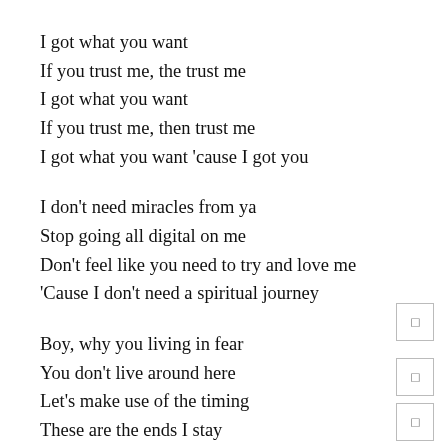I got what you want
If you trust me, the trust me
I got what you want
If you trust me, then trust me
I got what you want 'cause I got you
I don't need miracles from ya
Stop going all digital on me
Don't feel like you need to try and love me
'Cause I don't need a spiritual journey
Boy, why you living in fear
You don't live around here
Let's make use of the timing
These are the ends I stay
I don't plan on coming your way